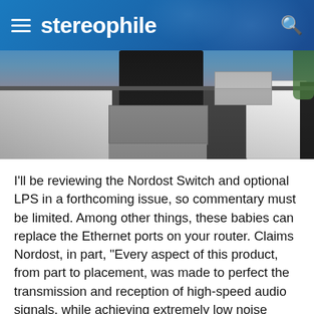stereophile
[Figure (photo): Photo of audio/hi-fi equipment including what appears to be network switches and amplifiers on stands, with a person standing behind them. Equipment is silver, white, and black in color.]
I'll be reviewing the Nordost Switch and optional LPS in a forthcoming issue, so commentary must be limited. Among other things, these babies can replace the Ethernet ports on your router. Claims Nordost, in part, "Every aspect of this product, from part to placement, was made to perfect the transmission and reception of high-speed audio signals, while achieving extremely low noise operation.